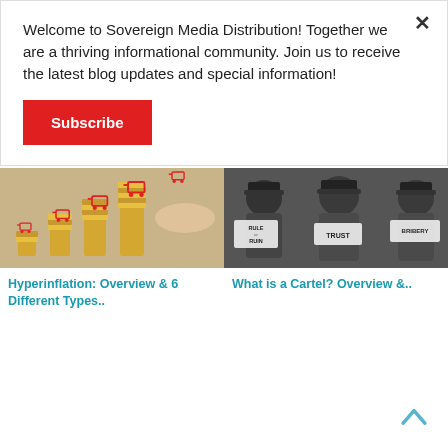Welcome to Sovereign Media Distribution! Together we are a thriving informational community. Join us to receive the latest blog updates and special information!
Subscribe
[Figure (photo): Shopping carts on stacks of gold coins, arranged in ascending height order, representing hyperinflation or rising prices concept]
[Figure (illustration): Black and white cartoon/illustration of men in hats holding signs reading 'Rule or Ruin', 'Trust', and 'Bribery', representing cartel concept]
Hyperinflation: Overview & 6 Different Types..
What is a Cartel? Overview &..